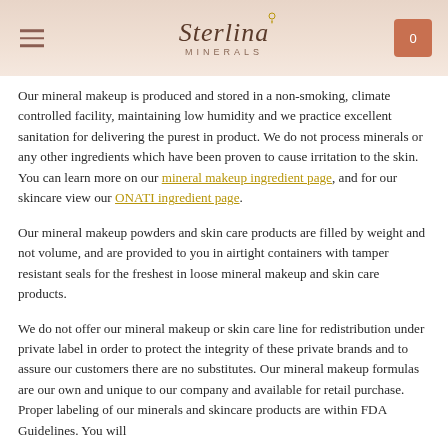Sterlina Minerals
Our mineral makeup is produced and stored in a non-smoking, climate controlled facility, maintaining low humidity and we practice excellent sanitation for delivering the purest in product. We do not process minerals or any other ingredients which have been proven to cause irritation to the skin. You can learn more on our mineral makeup ingredient page, and for our skincare view our ONATI ingredient page.
Our mineral makeup powders and skin care products are filled by weight and not volume, and are provided to you in airtight containers with tamper resistant seals for the freshest in loose mineral makeup and skin care products.
We do not offer our mineral makeup or skin care line for redistribution under private label in order to protect the integrity of these private brands and to assure our customers there are no substitutes. Our mineral makeup formulas are our own and unique to our company and available for retail purchase. Proper labeling of our minerals and skincare products are within FDA Guidelines. You will